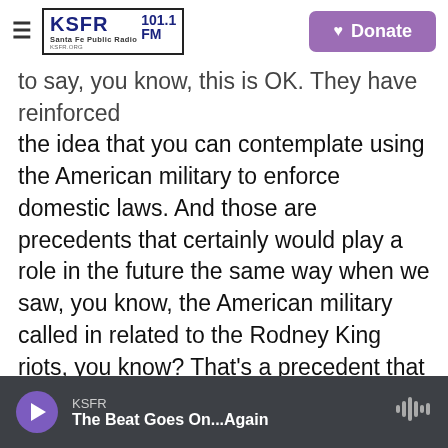KSFR 101.1 FM Santa Fe Public Radio | Donate
to say, you know, this is OK. They have reinforced the idea that you can contemplate using the American military to enforce domestic laws. And those are precedents that certainly would play a role in the future the same way when we saw, you know, the American military called in related to the Rodney King riots, you know? That's a precedent that the Trump administration looked to in this instance. So in the future, I certainly think you'll see people looking back on what happened here, you know, with the massive deployment of every federal law enforcement agency, for example, and say, hey, maybe that's an idea we can contemplate
KSFR — The Beat Goes On...Again